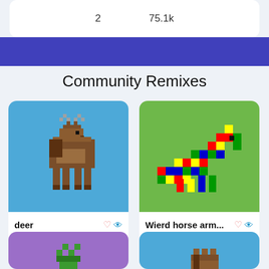2    75.1k
Community Remixes
[Figure (illustration): Pixel art deer sprite on blue background]
deer
by Dancerboy226    2    74.7k
[Figure (illustration): Colorful pixel art horse/snake creature on green background]
Wierd horse arm...
by PRO.COM    0    74.5k
[Figure (illustration): Pixel art creature on purple background (partially visible)]
[Figure (illustration): Pixel art building/castle on blue background (partially visible)]